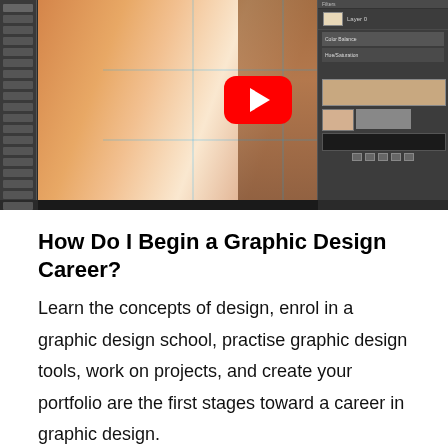[Figure (screenshot): Screenshot of a YouTube video thumbnail showing a graphic design tutorial in Adobe Photoshop. Visible is a woman with long hair in warm tones, a YouTube play button overlay, and the Photoshop interface panels on the right side.]
How Do I Begin a Graphic Design Career?
Learn the concepts of design, enrol in a graphic design school, practise graphic design tools, work on projects, and create your portfolio are the first stages toward a career in graphic design.
The first and most apparent step is to educate yourself on graphic design theory and concepts. This can be accomplished in